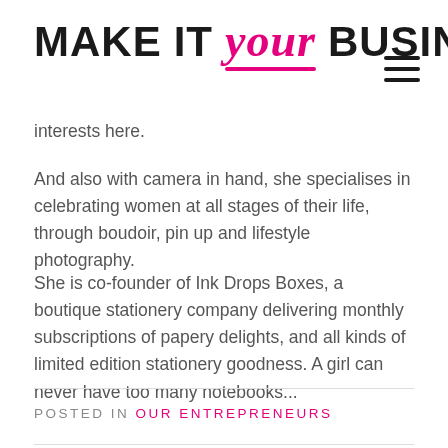MAKE IT YOUR BUSINESS®
interests here.
And also with camera in hand, she specialises in celebrating women at all stages of their life, through boudoir, pin up and lifestyle photography.
She is co-founder of Ink Drops Boxes, a boutique stationery company delivering monthly subscriptions of papery delights, and all kinds of limited edition stationery goodness. A girl can never have too many notebooks...
POSTED IN OUR ENTREPRENEURS